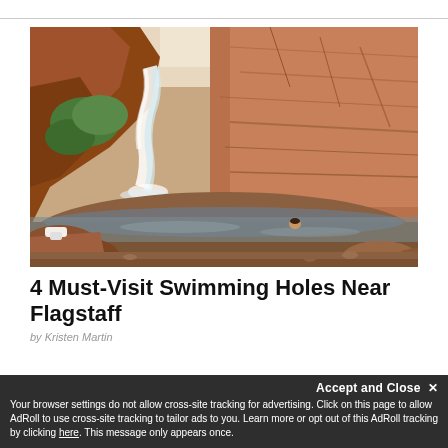[Figure (photo): A waterfall flowing into a reddish-brown natural swimming pool surrounded by red sandstone canyon walls, with a person swimming in the pool]
4 Must-Visit Swimming Holes Near Flagstaff
by Kristen Martin
Accept and Close ✕
Your browser settings do not allow cross-site tracking for advertising. Click on this page to allow AdRoll to use cross-site tracking to tailor ads to you. Learn more or opt out of this AdRoll tracking by clicking here. This message only appears once.